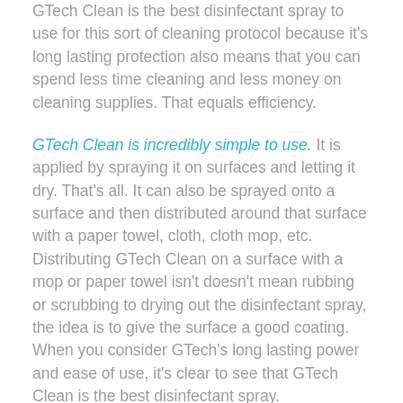GTech Clean is the best disinfectant spray to use for this sort of cleaning protocol because it's long lasting protection also means that you can spend less time cleaning and less money on cleaning supplies. That equals efficiency.
GTech Clean is incredibly simple to use. It is applied by spraying it on surfaces and letting it dry. That's all. It can also be sprayed onto a surface and then distributed around that surface with a paper towel, cloth, cloth mop, etc. Distributing GTech Clean on a surface with a mop or paper towel isn't doesn't mean rubbing or scrubbing to drying out the disinfectant spray, the idea is to give the surface a good coating. When you consider GTech's long lasting power and ease of use, it's clear to see that GTech Clean is the best disinfectant spray.